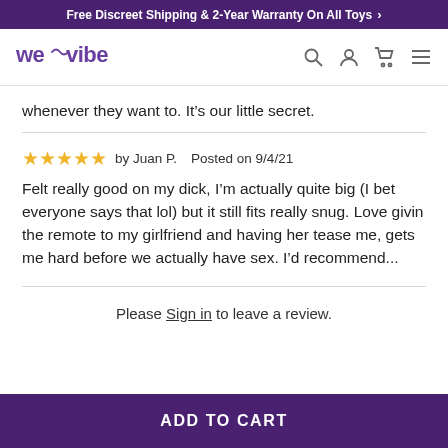Free Discreet Shipping & 2-Year Warranty On All Toys >
[Figure (logo): We-Vibe logo with stylized 'we vibe' text in purple]
whenever they want to. It’s our little secret.
★★★★★  by Juan P.   Posted on 9/4/21
Felt really good on my dick, I’m actually quite big (I bet everyone says that lol) but it still fits really snug. Love givin the remote to my girlfriend and having her tease me, gets me hard before we actually have sex. I’d recommend...
Please Sign in to leave a review.
ADD TO CART